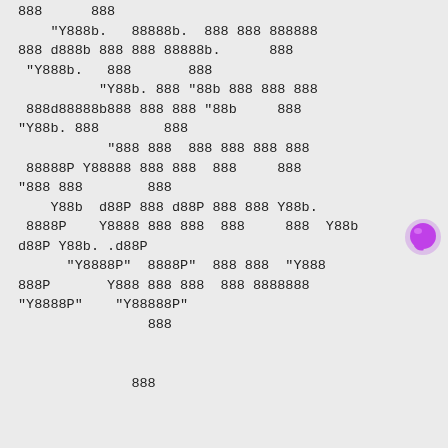888      888
    "Y888b.   88888b.  888 888 888888
888 d888b 888 888 88888b.      888
 "Y888b.   888       888
          "Y88b. 888 "88b 888 888 888
 888d88888b888 888 888 "88b     888
"Y88b. 888        888
           "888 888  888 888 888 888
 88888P Y88888 888 888  888     888
"888 888        888
    Y88b  d88P 888 d88P 888 888 Y88b.
 8888P    Y8888 888 888  888     888  Y88b
d88P Y88b. .d88P
      "Y8888P"  8888P"  888 888  "Y888
888P       Y888 888 888  888 8888888
"Y8888P"    "Y88888P"
                888


              888



              888
[Figure (other): Purple chat bubble icon with inner highlight, positioned at right side of page]